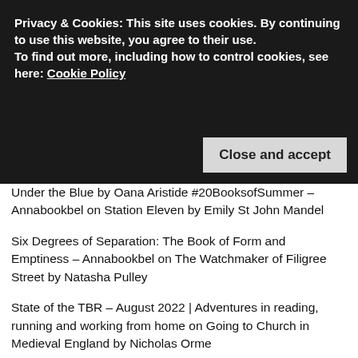Privacy & Cookies: This site uses cookies. By continuing to use this website, you agree to their use. To find out more, including how to control cookies, see here: Cookie Policy
Close and accept
Under the Blue by Oana Aristide #20BooksofSummer – Annabookbel on Station Eleven by Emily St John Mandel
Six Degrees of Separation: The Book of Form and Emptiness – Annabookbel on The Watchmaker of Filigree Street by Natasha Pulley
State of the TBR – August 2022 | Adventures in reading, running and working from home on Going to Church in Medieval England by Nicholas Orme
Summer Kitchens by Olia Hercules – Shiny New Books on Root Stem Leaf Flower by Gill Meller
Codename: Madeleine by Barnaby Jameson – Blogtour – Annabookbel on The Facemaker: One Surgeon's Battle to Mend the Disfigured Soldiers of World War I by Lindsey Fitzharris